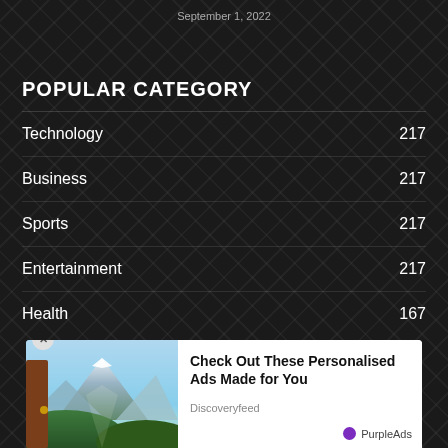September 1, 2022
POPULAR CATEGORY
Technology  217
Business  217
Sports  217
Entertainment  217
Health  167
[Figure (infographic): Advertisement overlay showing a mountain landscape photo on the left and text 'Check Out These Personalised Ads Made for You' with source 'Discoveryfeed' and branding 'PurpleAds' on the right. A close (x) button is visible at top-left.]